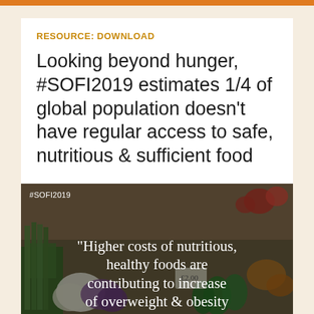RESOURCE: DOWNLOAD
Looking beyond hunger, #SOFI2019 estimates 1/4 of global population doesn't have regular access to safe, nutritious & sufficient food
[Figure (photo): A photograph of a vegetable market stand with various fresh vegetables including leeks, cauliflower, broccoli, peppers and other produce. Overlaid with white text reading: "Higher costs of nutritious, healthy foods are contributing to increase of overweight & obesity" and a #SOFI2019 hashtag in the top left corner.]